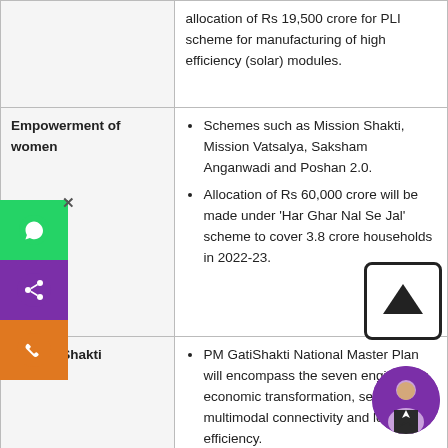| Category | Details |
| --- | --- |
|  | allocation of Rs 19,500 crore for PLI scheme for manufacturing of high efficiency (solar) modules. |
| Empowerment of women | • Schemes such as Mission Shakti, Mission Vatsalya, Saksham Anganwadi and Poshan 2.0.
• Allocation of Rs 60,000 crore will be made under 'Har Ghar Nal Se Jal' scheme to cover 3.8 crore households in 2022-23. |
| PM GatiShakti | • PM GatiShakti National Master Plan will encompass the seven engines for economic transformation, seamless multimodal connectivity and logistics efficiency.
  • The seven engines include roads, railways, |